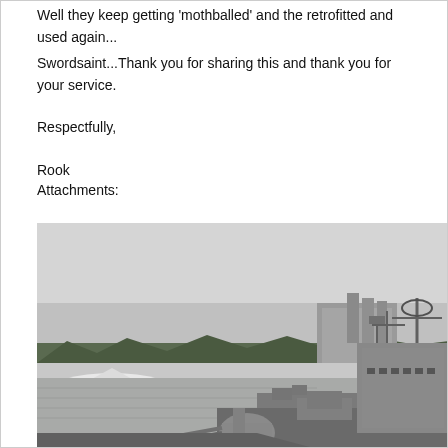Well they keep getting 'mothballed' and the retrofitted and used again...
Swordsaint...Thank you for sharing this and thank you for your service.
Respectfully,
Rook
Attachments:
[Figure (photo): Black and white photograph of a naval warship docked near a river or harbor. The ship's superstructure, gun turrets, radar equipment, and bridge are visible on the right side. The background shows a treeline and industrial buildings across the water under an overcast sky.]